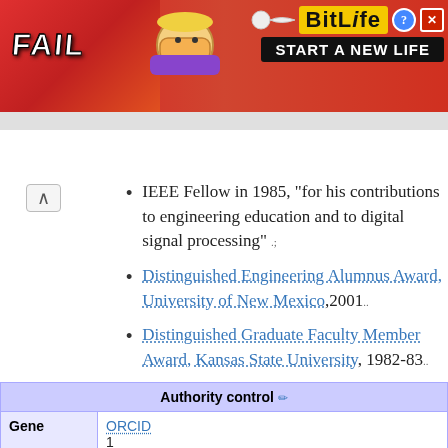[Figure (screenshot): BitLife advertisement banner with 'FAIL' text, animated character, and 'START A NEW LIFE' slogan]
IEEE Fellow in 1985, "for his contributions to engineering education and to digital signal processing" .;
Distinguished Engineering Alumnus Award, University of New Mexico, 2001..
Distinguished Graduate Faculty Member Award, Kansas State University, 1982-83..
| Authority control |
| --- |
| Gene | ORCID
1 |